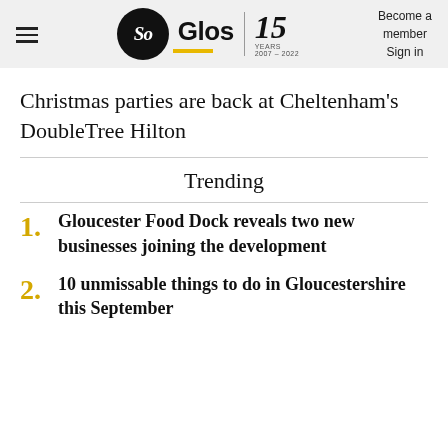So Glos | 15 YEARS 2007-2022 | Become a member | Sign in
Christmas parties are back at Cheltenham's DoubleTree Hilton
Trending
1. Gloucester Food Dock reveals two new businesses joining the development
2. 10 unmissable things to do in Gloucestershire this September